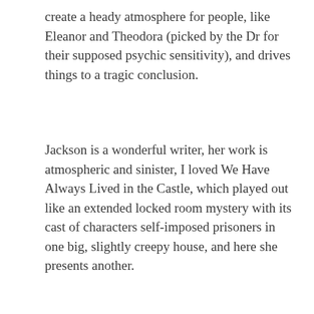create a heady atmosphere for people, like Eleanor and Theodora (picked by the Dr for their supposed psychic sensitivity), and drives things to a tragic conclusion.
Jackson is a wonderful writer, her work is atmospheric and sinister, I loved We Have Always Lived in the Castle, which played out like an extended locked room mystery with its cast of characters self-imposed prisoners in one big, slightly creepy house, and here she presents another.
I wasn't scared, but intrigued by the premise, is the house sinister because the Dr has told them it is, or is there truly something there? You decide.
[Figure (photo): A dark photograph showing what appears to be the inside of a bowl or container, with a metal rim visible and dark contents below, and a reddish/pink vertical element in the background.]